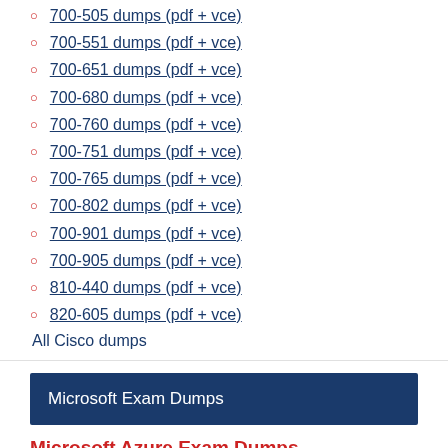700-505 dumps (pdf + vce)
700-551 dumps (pdf + vce)
700-651 dumps (pdf + vce)
700-680 dumps (pdf + vce)
700-760 dumps (pdf + vce)
700-751 dumps (pdf + vce)
700-765 dumps (pdf + vce)
700-802 dumps (pdf + vce)
700-901 dumps (pdf + vce)
700-905 dumps (pdf + vce)
810-440 dumps (pdf + vce)
820-605 dumps (pdf + vce)
All Cisco dumps
Microsoft Exam Dumps
Microsoft Azure Exam Dumps
az-104 Dumps (pdf + vce)